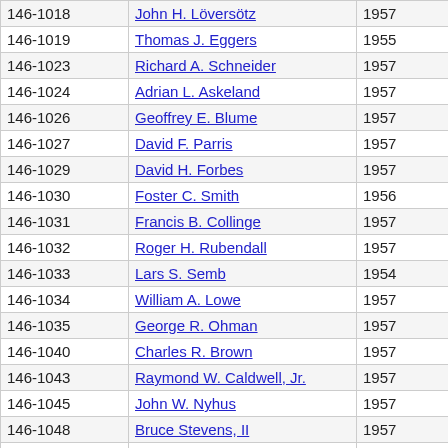| ID | Name | Year |  |
| --- | --- | --- | --- |
| 146-1018 | John H. Löversötz | 1957 |  |
| 146-1019 | Thomas J. Eggers | 1955 |  |
| 146-1023 | Richard A. Schneider | 1957 |  |
| 146-1024 | Adrian L. Askeland | 1957 |  |
| 146-1026 | Geoffrey E. Blume | 1957 |  |
| 146-1027 | David F. Parris | 1957 |  |
| 146-1029 | David H. Forbes | 1957 |  |
| 146-1030 | Foster C. Smith | 1956 |  |
| 146-1031 | Francis B. Collinge | 1957 |  |
| 146-1032 | Roger H. Rubendall | 1957 |  |
| 146-1033 | Lars S. Semb | 1954 |  |
| 146-1034 | William A. Lowe | 1957 |  |
| 146-1035 | George R. Ohman | 1957 |  |
| 146-1040 | Charles R. Brown | 1957 |  |
| 146-1043 | Raymond W. Caldwell, Jr. | 1957 |  |
| 146-1045 | John W. Nyhus | 1957 |  |
| 146-1048 | Bruce Stevens, II | 1957 |  |
| 146-1051 | Warren R. Rebholz | 1957 |  |
| 146-1052 | Erik K. Juel | 1955 |  |
| 146-1053 | Charles E. Elliot | 1959 |  |
| 146-1056 | David L. Rex | 1958 |  |